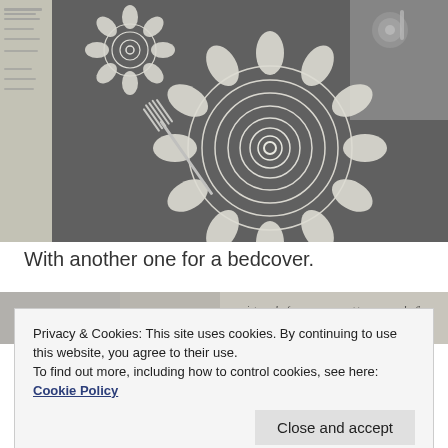[Figure (photo): Black and white photograph of a crocheted doily (lace pattern) displayed on a dark background alongside a fork and what appears to be a craft pattern book page on the left side.]
With another one for a bedcover.
[Figure (photo): Partial view of a second photograph showing text from a crochet pattern: '...into each of n... next tr... ch... f']
Privacy & Cookies: This site uses cookies. By continuing to use this website, you agree to their use.
To find out more, including how to control cookies, see here: Cookie Policy
Close and accept